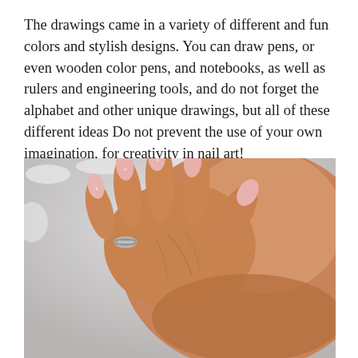The drawings came in a variety of different and fun colors and stylish designs. You can draw pens, or even wooden color pens, and notebooks, as well as rulers and engineering tools, and do not forget the alphabet and other unique drawings, but all of these different ideas Do not prevent the use of your own imagination, for creativity in nail art!
[Figure (photo): A close-up photo of a woman's hand with long pink nude nails resting on another person's hand/shoulder. One finger has a silver ring with small stones. The background is a white fluffy texture.]